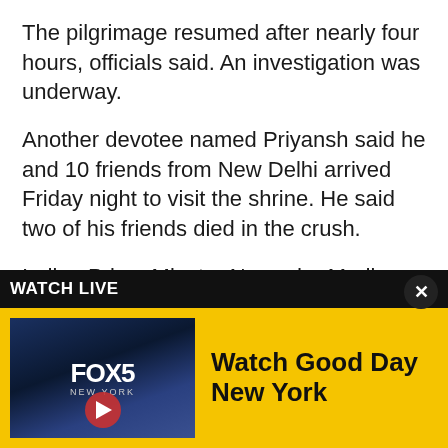The pilgrimage resumed after nearly four hours, officials said. An investigation was underway.
Another devotee named Priyansh said he and 10 friends from New Delhi arrived Friday night to visit the shrine. He said two of his friends died in the crush.
Indian Prime Minster Narendra Modi expressed his condolences in a message on Twitter.
"Extremely saddened by the loss of lives due to a stampede," Modi wrote.
Pilh...
[Figure (screenshot): FOX 5 Watch Live advertisement banner with yellow background showing 'WATCH LIVE' header and 'Watch Good Day New York' with FOX5 thumbnail]